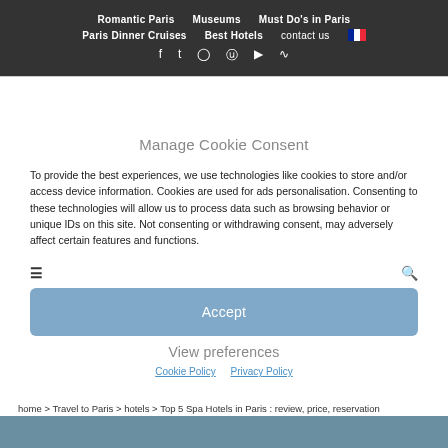Romantic Paris  Museums  Must Do's in Paris  Paris Dinner Cruises  Best Hotels  contact us
Manage Cookie Consent
To provide the best experiences, we use technologies like cookies to store and/or access device information. Cookies are used for ads personalisation. Consenting to these technologies will allow us to process data such as browsing behavior or unique IDs on this site. Not consenting or withdrawing consent, may adversely affect certain features and functions.
Accept
View preferences
Cookie Policy   Privacy Policy
home > Travel to Paris > hotels > Top 5 Spa Hotels in Paris : review, price, reservation